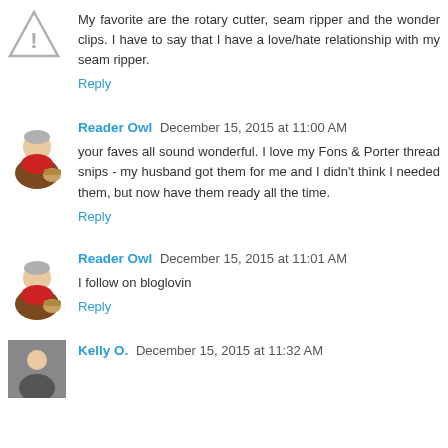My favorite are the rotary cutter, seam ripper and the wonder clips. I have to say that I have a love/hate relationship with my seam ripper.
Reply
Reader Owl December 15, 2015 at 11:00 AM
your faves all sound wonderful. I love my Fons & Porter thread snips - my husband got them for me and I didn't think I needed them, but now have them ready all the time.
Reply
Reader Owl December 15, 2015 at 11:01 AM
I follow on bloglovin
Reply
Kelly O. December 15, 2015 at 11:32 AM